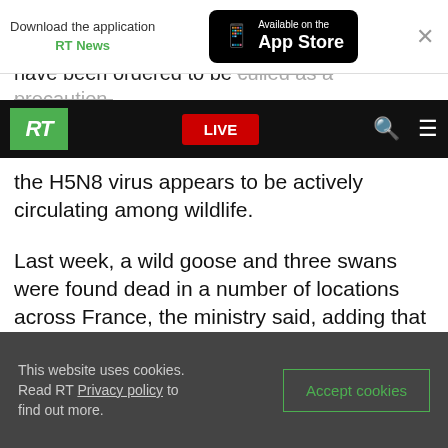[Figure (screenshot): App download banner: 'Download the application RT News' with App Store button and close X]
have been ordered to be culled as a precaution,
[Figure (screenshot): RT navigation bar with green RT logo, red LIVE button, search and menu icons]
the H5N8 virus appears to be actively circulating among wildlife.
Last week, a wild goose and three swans were found dead in a number of locations across France, the ministry said, adding that quarantine measures have been established in the affected locations.
While the H5N8 virus is not transmittable to humans, it is highly contagious and deadly for
This website uses cookies. Read RT Privacy policy to find out more.